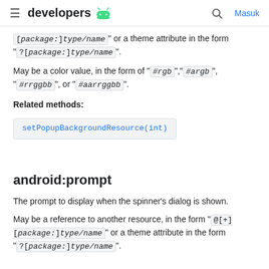≡  developers 🤖   🔍  Masuk
[package:]type/name" or a theme attribute in the form "?[package:]type/name".
May be a color value, in the form of "#rgb","#argb","#rrggbb", or "#aarrggbb".
Related methods:
setPopupBackgroundResource(int)
android:prompt
The prompt to display when the spinner's dialog is shown.
May be a reference to another resource, in the form "@[+][package:]type/name" or a theme attribute in the form "?[package:]type/name".